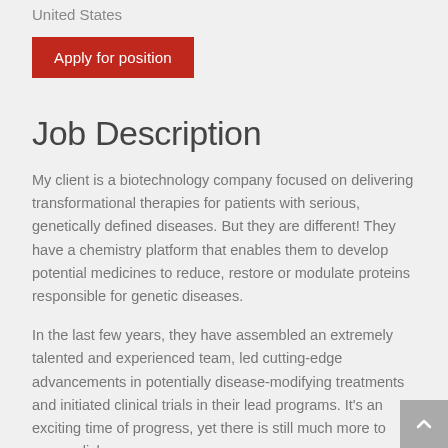United States
Apply for position
Job Description
My client is a biotechnology company focused on delivering transformational therapies for patients with serious, genetically defined diseases. But they are different! They have a chemistry platform that enables them to develop potential medicines to reduce, restore or modulate proteins responsible for genetic diseases.
In the last few years, they have assembled an extremely talented and experienced team, led cutting-edge advancements in potentially disease-modifying treatments and initiated clinical trials in their lead programs. It's an exciting time of progress, yet there is still much more to accomplish.
“This is a time of opportunity, to be part of a dynamic